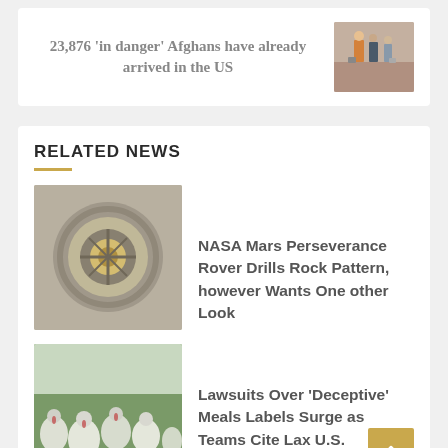23,876 'in danger' Afghans have already arrived in the US
[Figure (photo): Photo of people at an airport or travel setting, silhouettes]
RELATED NEWS
[Figure (photo): Close-up photo of a mechanical part, possibly a drill bit or rover component, circular gold and silver metal piece]
NASA Mars Perseverance Rover Drills Rock Pattern, however Wants One other Look
[Figure (photo): Photo of turkeys in a field, white turkeys on green grass]
Lawsuits Over ‘Deceptive’ Meals Labels Surge as Teams Cite Lax U.S. Oversight